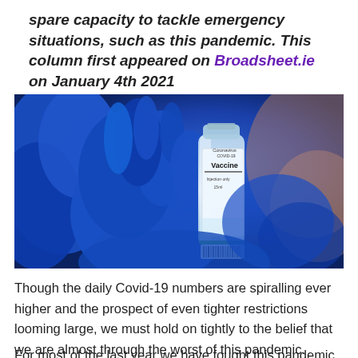spare capacity to tackle emergency situations, such as this pandemic. This column first appeared on Broadsheet.ie on January 4th 2021
[Figure (photo): A gloved hand in blue latex gloves holding a small glass vial labeled 'Coronavirus COVID-19 Vaccine, Injection only, 15ml' with a barcode at the bottom.]
Though the daily Covid-19 numbers are spiralling ever higher and the prospect of even tighter restrictions looming large, we must hold on tightly to the belief that we are almost through the worst of this pandemic.
For most of the last year we have fought this pandemic